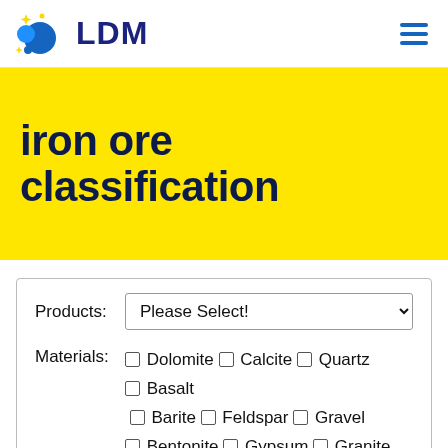LDM
iron ore classification
Products: Please Select!  Materials: □ Dolomite □ Calcite □ Quartz □ Basalt □ Barite □ Feldspar □ Gravel □ Bentonite □ Gypsum □ Granite